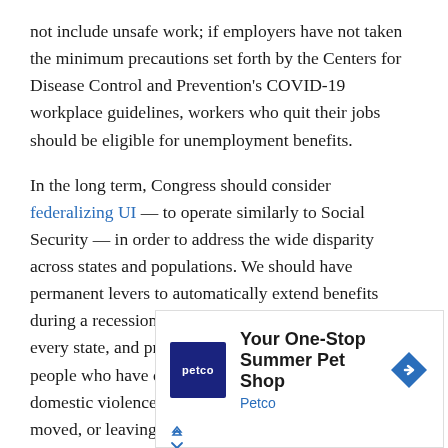not include unsafe work; if employers have not taken the minimum precautions set forth by the Centers for Disease Control and Prevention's COVID-19 workplace guidelines, workers who quit their jobs should be eligible for unemployment benefits.
In the long term, Congress should consider federalizing UI — to operate similarly to Social Security — in order to address the wide disparity across states and populations. We should have permanent levers to automatically extend benefits during a recession, make worksharing available in every state, and provide dependent allowances for people who have children. Workers who are fleeing domestic violence, following a spouse whose job has moved, or leaving a job that jeopardizes their health and safety should be able to receive UI. And we should make sure that all workers, including those
[Figure (other): Petco advertisement: 'Your One-Stop Summer Pet Shop' with Petco logo and blue diamond arrow icon, plus close/skip controls.]